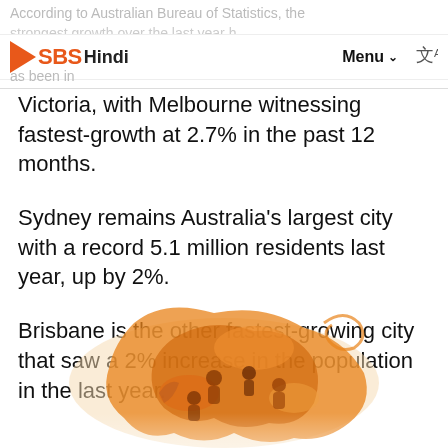SBS Hindi — Menu
Victoria, with Melbourne witnessing fastest-growth at 2.7% in the past 12 months.
Sydney remains Australia's largest city with a record 5.1 million residents last year, up by 2%.
Brisbane is the other fastest-growing city that saw a 2% increase in the population in the last year.
[Figure (illustration): Decorative orange-toned illustration of the map of Australia with people and cultural imagery overlaid, SBS Hindi style graphic]